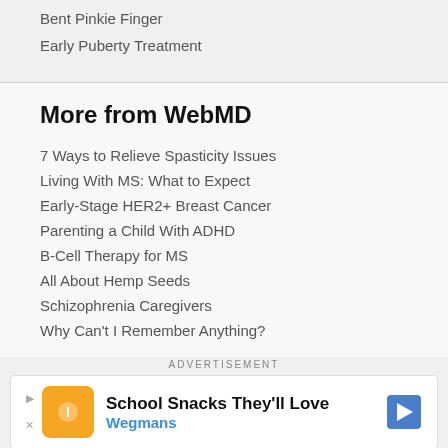Bent Pinkie Finger
Early Puberty Treatment
More from WebMD
7 Ways to Relieve Spasticity Issues
Living With MS: What to Expect
Early-Stage HER2+ Breast Cancer
Parenting a Child With ADHD
B-Cell Therapy for MS
All About Hemp Seeds
Schizophrenia Caregivers
Why Can't I Remember Anything?
ADVERTISEMENT
[Figure (other): Wegmans advertisement banner: School Snacks They'll Love, Wegmans logo with play/close controls and navigation arrow]